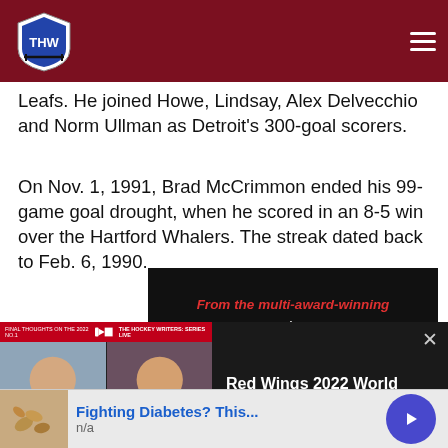THW - The Hockey Writers
Leafs. He joined Howe, Lindsay, Alex Delvecchio and Norm Ullman as Detroit's 300-goal scorers.
On Nov. 1, 1991, Brad McCrimmon ended his 99-game goal drought, when he scored in an 8-5 win over the Hartford Whalers. The streak dated back to Feb. 6, 1990.
[Figure (screenshot): Promotional card showing 'From the multi-award-winning The' text on dark background]
[Figure (screenshot): Video popup overlay showing THW Hockey Writers panel discussion thumbnail with title 'Red Wings 2022 World Juniors Standouts - Eemil Viro']
[Figure (other): Advertisement banner: Fighting Diabetes? This... n/a, with blue circle arrow CTA button]